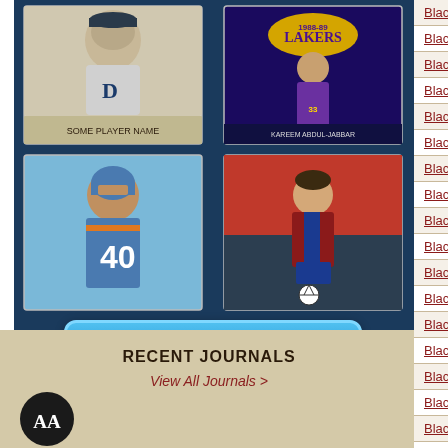[Figure (photo): Sports trading cards collage showing baseball, Lakers basketball, football, and soccer cards on a dark blue background, with a SHOP HIBID button below]
RECENT JOURNALS
View All Journals >
[Figure (logo): AA logo in black circle]
| Card Name | Status |
| --- | --- |
| Blackhawk 21 | No C |
| Blackhawk 22 | No C |
| Blackhawk 23 | No C |
| Blackhawk 24 | No C |
| Blackhawk 25 | No C |
| Blackhawk 26 | No C |
| Blackhawk 27 | No C |
| Blackhawk 28 | No C |
| Blackhawk 29 | No C |
| Blackhawk 30 | No C |
| Blackhawk 31 | No C |
| Blackhawk 32 | No C |
| Blackhawk 33 | No C |
| Blackhawk 34 | No C |
| Blackhawk 35 | No C |
| Blackhawk 36 | No C |
| Blackhawk 37 | No C |
| Blackhawk 38 | No C |
| Blackhawk 39 | No C |
| Blackhawk 40 | No C |
| Blackhawk 41 | No C |
| Blackhawk 42 | No C |
| Blackhawk 43 | No C |
| Blackhawk 44 | No C |